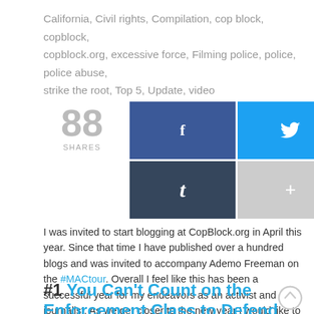California, Civil rights, Compilation, cop block, copblock, copblock.org, excessive force, Filming police, police, police abuse, strike the root, Top 5, Update, video
[Figure (infographic): Social share count showing 88 SHARES with social media buttons: Facebook, Twitter, Google+, Reddit, Tumblr, and a more (+) button]
I was invited to start blogging at CopBlock.org in April this year. Since that time I have published over a hundred blogs and was invited to accompany Ademo Freeman on the #MACtour. Overall I feel like this has been a successful year for my endeavors as an activist and journalist. As we get closer to the new year I would like to share my five favorite posts of 2015.
#1 You Can't Count on the Enforcement Class to Defend